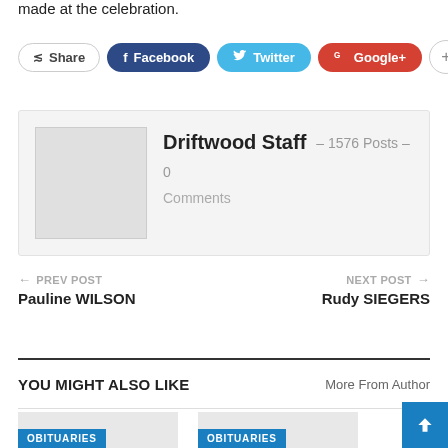made at the celebration.
Share  Facebook  Twitter  Google+  +
Driftwood Staff – 1576 Posts – 0 Comments
← PREV POST
Pauline WILSON
NEXT POST →
Rudy SIEGERS
YOU MIGHT ALSO LIKE
More From Author
OBITUARIES
OBITUARIES